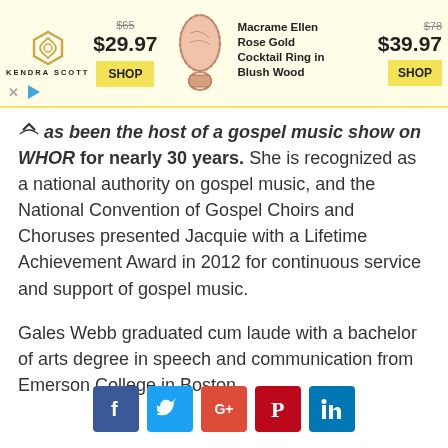[Figure (infographic): Kendra Scott advertisement banner showing a rose gold cocktail ring. Original price $65, sale price $29.97 on left. Center shows ring image. Right side: Macrame Ellen Rose Gold Cocktail Ring in Blush Wood, original price $78, sale price $39.97. Two yellow SHOP buttons. Ad network icons at bottom left.]
as been the host of a gospel music show on WHOR for nearly 30 years. She is recognized as a national authority on gospel music, and the National Convention of Gospel Choirs and Choruses presented Jacquie with a Lifetime Achievement Award in 2012 for continuous service and support of gospel music.
Gales Webb graduated cum laude with a bachelor of arts degree in speech and communication from Emerson College in Boston.
[Figure (infographic): Social media sharing buttons: Facebook (blue), Twitter (light blue), Google+ (red-orange), Pinterest (red), LinkedIn (blue)]